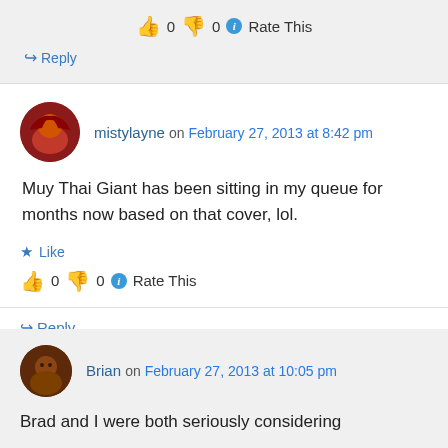👍 0 👎 0 ℹ Rate This
↪ Reply
mistylayne on February 27, 2013 at 8:42 pm
Muy Thai Giant has been sitting in my queue for months now based on that cover, lol.
★ Like
👍 0 👎 0 ℹ Rate This
↪ Reply
Brian on February 27, 2013 at 10:05 pm
Brad and I were both seriously considering